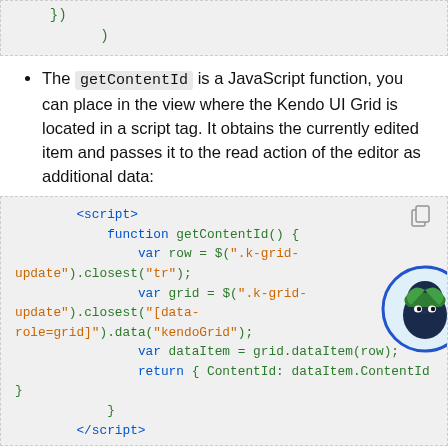[Figure (screenshot): Top code snippet showing closing braces: }) and )]
The getContentId is a JavaScript function, you can place in the view where the Kendo UI Grid is located in a script tag. It obtains the currently edited item and passes it to the read action of the editor as additional data:
[Figure (screenshot): Code block showing a <script> tag containing a JavaScript function getContentId() that retrieves the currently edited Kendo UI grid row and returns the ContentId]